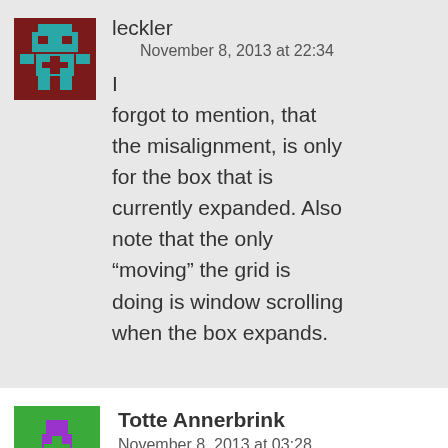[Figure (illustration): Pixel art avatar for user leckler: dark red/maroon background with teal/cyan robot-like figure]
leckler
November 8, 2013 at 22:34
I forgot to mention, that the misalignment, is only for the box that is currently expanded. Also note that the only “moving” the grid is doing is window scrolling when the box expands.
[Figure (illustration): Pixel art avatar for user Totte Annerbrink: green background with purple figure]
Totte Annerbrink
November 8, 2013 at 03:28